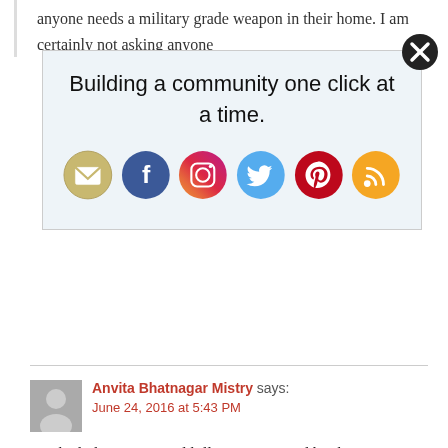anyone needs a military grade weapon in their home. I am certainly not asking anyone
[Figure (infographic): Social media sharing popup with title 'Building a community one click at a time.' and icons for email, Facebook, Instagram, Twitter, Pinterest, and RSS, with a close button (X) in top right corner.]
Anvita Bhatnagar Mistry says: June 24, 2016 at 5:43 PM
Too bad, the gun control bills wasn't passed by the senate. So disappointing.